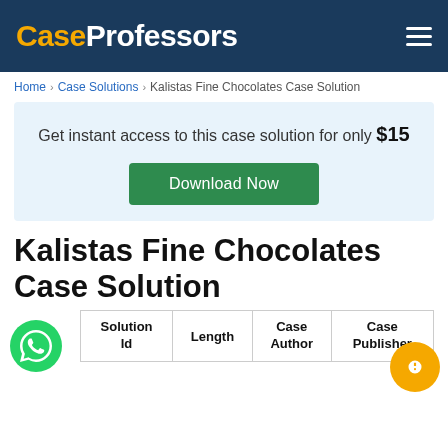CaseProfessors
Home > Case Solutions > Kalistas Fine Chocolates Case Solution
Get instant access to this case solution for only $15
Download Now
Kalistas Fine Chocolates Case Solution
| Solution Id | Length | Case Author | Case Publisher |
| --- | --- | --- | --- |